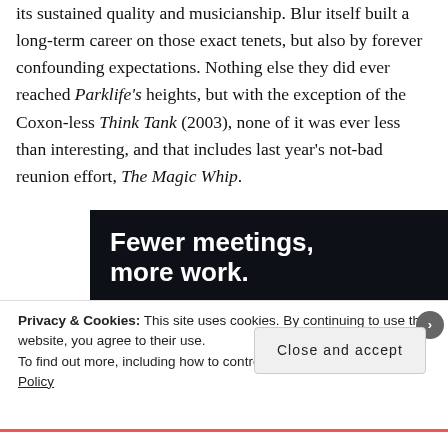its sustained quality and musicianship. Blur itself built a long-term career on those exact tenets, but also by forever confounding expectations. Nothing else they did ever reached Parklife's heights, but with the exception of the Coxon-less Think Tank (2003), none of it was ever less than interesting, and that includes last year's not-bad reunion effort, The Magic Whip.
[Figure (other): Advertisement banner with dark background showing text 'Fewer meetings, more work.' and a 'Get started for free' button]
Privacy & Cookies: This site uses cookies. By continuing to use this website, you agree to their use.
To find out more, including how to control cookies, see here: Cookie Policy
Close and accept